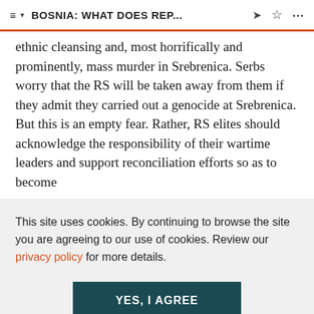BOSNIA: WHAT DOES REP...
ethnic cleansing and, most horrifically and prominently, mass murder in Srebrenica. Serbs worry that the RS will be taken away from them if they admit they carried out a genocide at Srebrenica. But this is an empty fear. Rather, RS elites should acknowledge the responsibility of their wartime leaders and support reconciliation efforts so as to become
This site uses cookies. By continuing to browse the site you are agreeing to our use of cookies. Review our privacy policy for more details.
YES, I AGREE